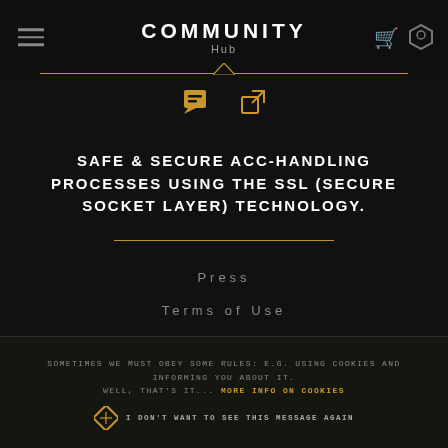COMMUNITY Hub
[Figure (screenshot): Icon bar with chat icon and external link icon in gold]
SAFE & SECURE ACC-HANDLING PROCESSES USING THE SSL (SECURE SOCKET LAYER) TECHNOLOGY.
Press
Terms of Use
Privacy Policy
Contact Us
Sometimes we must obey some rules: e.g. using cookies and informing you about it. Well, that's it... More info on cookies. I don't want to see this message again